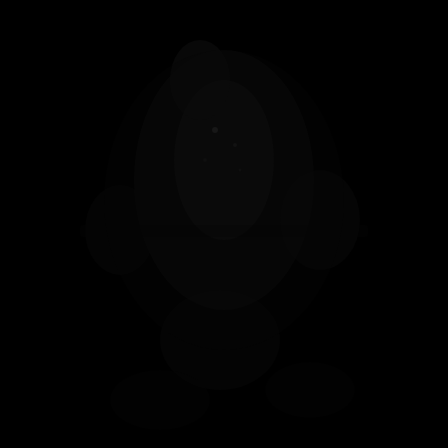[Figure (photo): A very dark, nearly black photograph or scientific image. The image appears to show some faint structures or features against an extremely dark background. Possible astronomical, microscopic, or scientific imaging with very low exposure or contrast. Some subtle lighter regions are barely visible in the upper-center and mid-portions of the image, suggesting structures such as a celestial object, microscopy sample, or similar scientific subject captured in low-light or high-contrast conditions.]